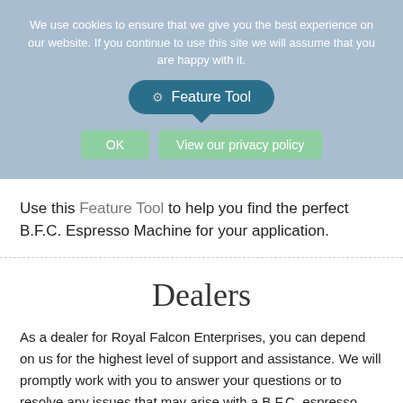We use cookies to ensure that we give you the best experience on our website. If you continue to use this site we will assume that you are happy with it.
Feature Tool
OK   View our privacy policy
Use this Feature Tool to help you find the perfect B.F.C. Espresso Machine for your application.
Dealers
As a dealer for Royal Falcon Enterprises, you can depend on us for the highest level of support and assistance. We will promptly work with you to answer your questions or to resolve any issues that may arise with a B.F.C. espresso coffee machine purchased from us. We are in constant contact with the factory's technical & executive